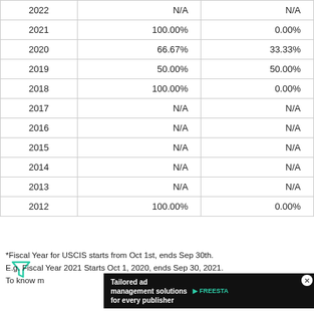| Year | Column2 | Column3 |
| --- | --- | --- |
| 2022 | N/A | N/A |
| 2021 | 100.00% | 0.00% |
| 2020 | 66.67% | 33.33% |
| 2019 | 50.00% | 50.00% |
| 2018 | 100.00% | 0.00% |
| 2017 | N/A | N/A |
| 2016 | N/A | N/A |
| 2015 | N/A | N/A |
| 2014 | N/A | N/A |
| 2013 | N/A | N/A |
| 2012 | 100.00% | 0.00% |
*Fiscal Year for USCIS starts from Oct 1st, ends Sep 30th.
E.g. Fiscal Year 2021 Starts Oct 1, 2020, ends Sep 30, 2021.
To know m...